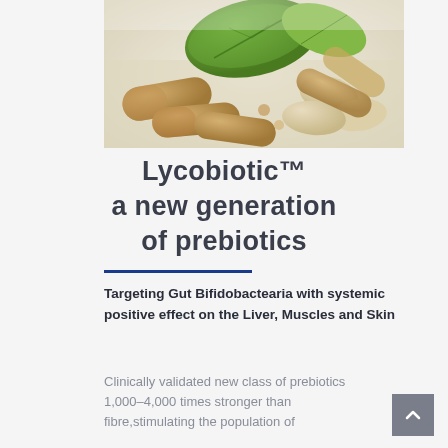[Figure (photo): Close-up photo of herbal supplement capsules and tablets with green leaves on a light background]
Lycobiotic™ a new generation of prebiotics
Targeting Gut Bifidobactearia with systemic positive effect on the Liver, Muscles and Skin
Clinically validated new class of prebiotics 1,000–4,000 times stronger than fibre,stimulating the population of